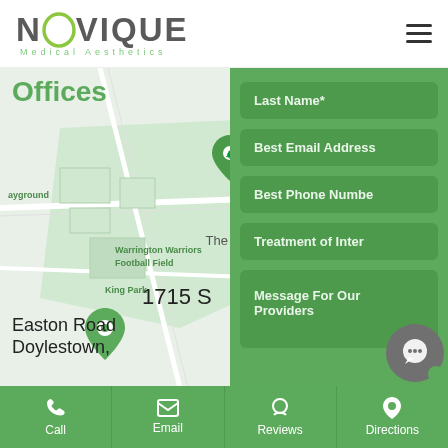[Figure (logo): Novique Medical Aesthetics logo with stylized O and green subtitle]
Offices
[Figure (map): Google Maps view showing location pins near Warrington Warriors Football Field, King Park, Turk Park. Address marker showing 1715 S Easton Road, Doylestown]
1715 S
Easton Road
Doylestown,
Last Name*
Best Email Address
Best Phone Number
Treatment of Interest
Message For Our Providers
Call  Email  Reviews  Directions